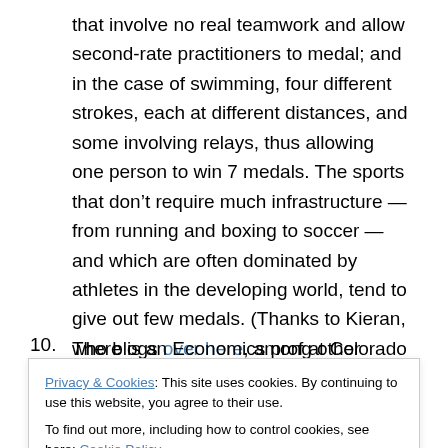that involve no real teamwork and allow second-rate practitioners to medal; and in the case of swimming, four different strokes, each at different distances, and some involving relays, thus allowing one person to win 7 medals. The sports that don't require much infrastructure — from running and boxing to soccer — and which are often dominated by athletes in the developing world, tend to give out few medals. (Thanks to Kieran, who blogs over here, among other places, for highlighting some of these points.)
10. There is an Economics prof at Colorado College
Privacy & Cookies: This site uses cookies. By continuing to use this website, you agree to their use.
To find out more, including how to control cookies, see here: Cookie Policy
I haven't studied the model, but I'm guessing GDP is